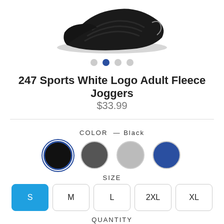[Figure (photo): Partial view of black athletic sneakers at top of page]
247 Sports White Logo Adult Fleece Joggers
$33.99
COLOR — Black
[Figure (other): Four color swatches: Black (selected), dark gray, light gray, navy blue]
SIZE
S  M  L  2XL  XL
QUANTITY